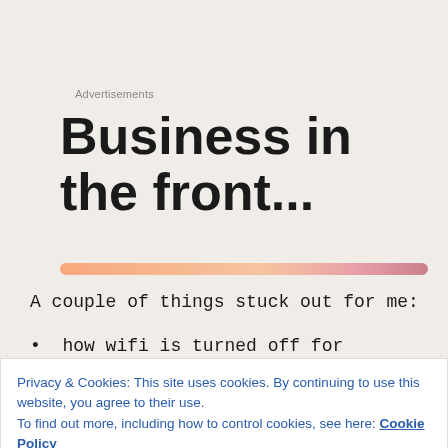Advertisements
Business in the front...
[Figure (infographic): Horizontal gradient progress bar from orange-peach on the left to dusty rose/mauve on the right]
A couple of things stuck out for me:
how wifi is turned off for student use at night
how cell phones are taken away from Grade nine
Privacy & Cookies: This site uses cookies. By continuing to use this website, you agree to their use.
To find out more, including how to control cookies, see here: Cookie Policy
thinking when you read about others getting